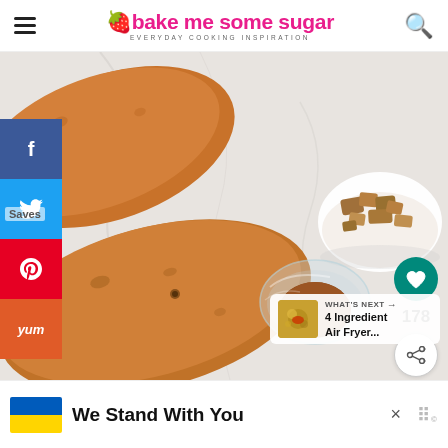bake me some sugar — EVERYDAY COOKING INSPIRATION
[Figure (photo): Overhead flat-lay photo of two sweet potatoes on a white marble surface, a small bowl of brown sugar in the upper right, and a small glass bowl of cinnamon powder in the center. Social sharing sidebar on the left (Facebook, Twitter, Pinterest, Yummly). Heart save button and count (178) on the right. 'What's Next' widget showing '4 Ingredient Air Fryer...' in bottom right.]
We Stand With You